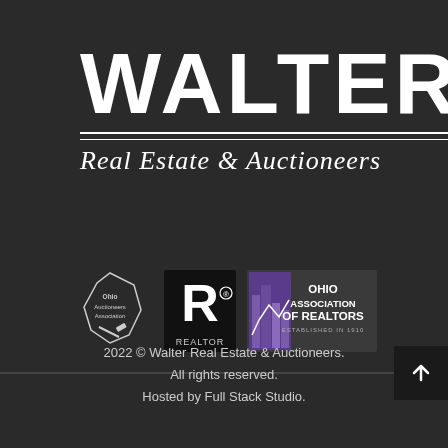WALTER Real Estate & Auctioneers
[Figure (logo): Three association logos: Ohio Auctioneers Association, REALTOR, and Ohio Association of Realtors Established in 1910]
2022 © Walter Real Estate & Auctioneers. All rights reserved. Hosted by Full Stack Studio.